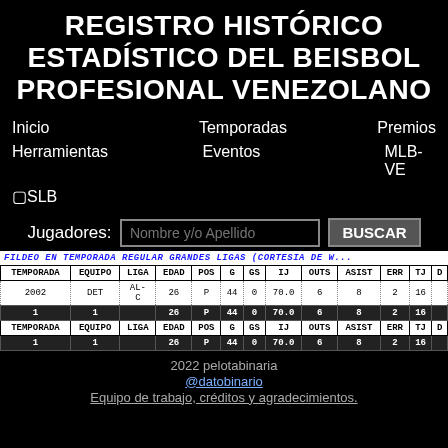REGISTRO HISTÓRICO ESTADÍSTICO DEL BEISBOL PROFESIONAL VENEZOLANO
Inicio
Temporadas
Premios
Herramientas
Eventos
MLB-VE
⬜SLB
Jugadores: Nombre y/o Apellido BUSCAR
| TEMPORADA | EQUIPO | LIGA | EDAD | POS | G | GS | IJ | OUTS | ASIST | ERR | TJ | D |
| --- | --- | --- | --- | --- | --- | --- | --- | --- | --- | --- | --- | --- |
| 2002 | DET | AL-C | 26 | P | 44 | 0 | 70.0 | 6 | 8 | 2 | 16 |  |
| 1 | 1 |  | 26 | P | 44 | 0 | 70.0 | 6 | 8 | 2 | 16 |  |
| TEMPORADA | EQUIPO | LIGA | EDAD | POS | G | GS | IJ | OUTS | ASIST | ERR | TJ | D |
| 1 | 1 |  | 26 | P | 44 | 0 | 70.0 | 6 | 8 | 2 | 16 |  |
FILDEO EN TEMPORADA REGULAR GRANDES LIGAS (CORTESIA DE W...
2022 pelotabinaria @datobinario Equipo de trabajo, créditos y agradecimientos.